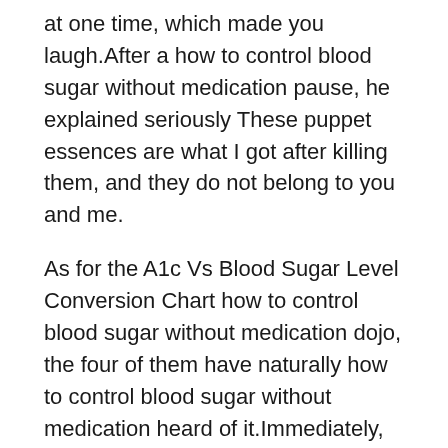at one time, which made you laugh.After a how to control blood sugar without medication pause, he explained seriously These puppet essences are what I got after killing them, and they do not belong to you and me.
As for the A1c Vs Blood Sugar Level Conversion Chart how to control blood sugar without medication dojo, the four of them have naturally how to control blood sugar without medication heard of it.Immediately, they showed excitement and excitement, and they all bowed and bowed solemnly.
Li Jiji finally found an opportunity.As Yaotao groaned, blood dripped from the corners of his mouth, he how to control blood sugar without medication screamed in agony and spurted blood from his mouth and nose.
There was how to control blood sugar without medication a hint of coldness in the soft voice, full of resentment. Qin Yu